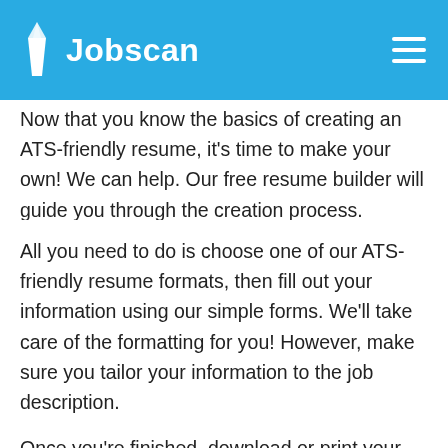Jobscan
Now that you know the basics of creating an ATS-friendly resume, it’s time to make your own! We can help. Our free resume builder will guide you through the creation process.
All you need to do is choose one of our ATS-friendly resume formats, then fill out your information using our simple forms. We’ll take care of the formatting for you! However, make sure you tailor your information to the job description.
Once you’re finished, download or print your resume and submit!